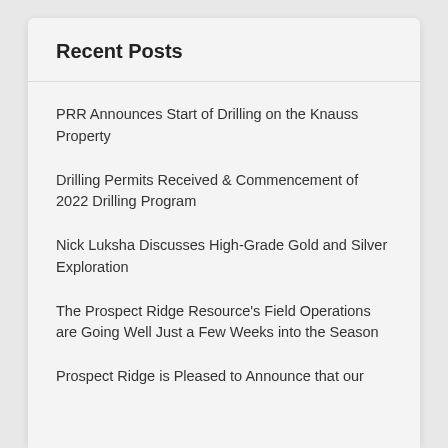Recent Posts
PRR Announces Start of Drilling on the Knauss Property
Drilling Permits Received & Commencement of 2022 Drilling Program
Nick Luksha Discusses High-Grade Gold and Silver Exploration
The Prospect Ridge Resource's Field Operations are Going Well Just a Few Weeks into the Season
Prospect Ridge is Pleased to Announce that our